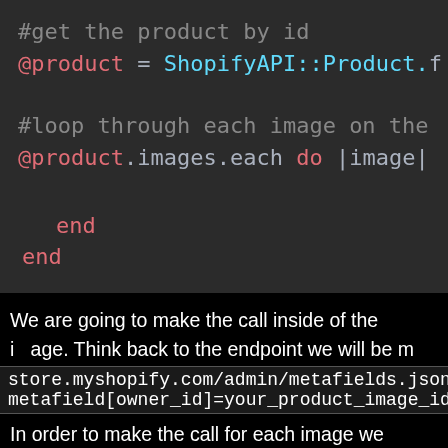[Figure (screenshot): Code editor screenshot showing Ruby code with syntax highlighting. Lines include a comment '#get the product by id', '@product = ShopifyAPI::Product.f...', a comment '#loop through each image on the...', '@product.images.each do |image|', 'end', and 'end', on a dark background.]
We are going to make the call inside of the image. Think back to the endpoint we will be m...
store.myshopify.com/admin/metafields.json?
metafield[owner_id]=your_product_image_id...
In order to make the call for each image we...